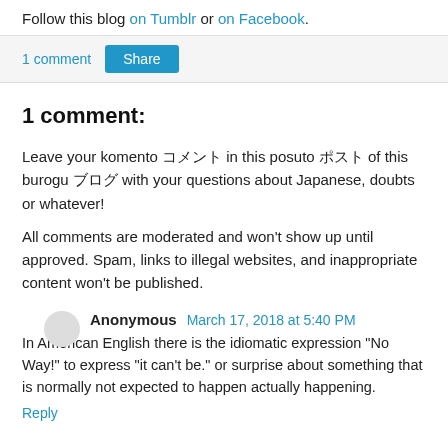Follow this blog on Tumblr or on Facebook.
1 comment   Share
1 comment:
Leave your komento コメント in this posuto ポスト of this burogu ブログ with your questions about Japanese, doubts or whatever!
All comments are moderated and won't show up until approved. Spam, links to illegal websites, and inappropriate content won't be published.
Anonymous  March 17, 2018 at 5:40 PM
In American English there is the idiomatic expression "No Way!" to express "it can't be." or surprise about something that is normally not expected to happen actually happening.
Reply